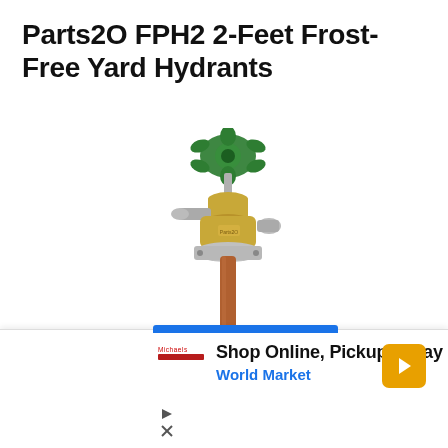Parts2O FPH2 2-Feet Frost-Free Yard Hydrants
[Figure (photo): A frost-free yard hydrant (Parts2O FPH2) with a green star-shaped handle on top, brass/chrome valve body with side outlet and mounting flange, and a long copper pipe shaft ending in a brass threaded fitting at the bottom.]
[Figure (screenshot): Advertisement banner: 'Shop Online, Pickup Today' with 'World Market' in blue text, a red logo bar on the left, an orange arrow navigation icon on the right, and two small icons (play triangle and X) at the bottom left.]